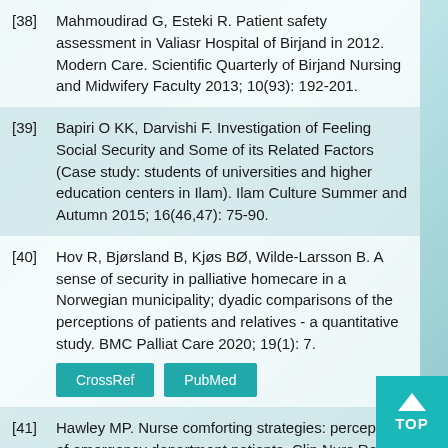[38] Mahmoudirad G, Esteki R. Patient safety assessment in Valiasr Hospital of Birjand in 2012. Modern Care. Scientific Quarterly of Birjand Nursing and Midwifery Faculty 2013; 10(93): 192-201.
[39] Bapiri O KK, Darvishi F. Investigation of Feeling Social Security and Some of its Related Factors (Case study: students of universities and higher education centers in Ilam). Ilam Culture Summer and Autumn 2015; 16(46,47): 75-90.
[40] Hov R, Bjørsland B, Kjøs BØ, Wilde-Larsson B. A sense of security in palliative homecare in a Norwegian municipality; dyadic comparisons of the perceptions of patients and relatives - a quantitative study. BMC Palliat Care 2020; 19(1): 7.
[41] Hawley MP. Nurse comforting strategies: perceptions of emergency department patients. Clin Nurs Res 2000; 9(4): 441-59.